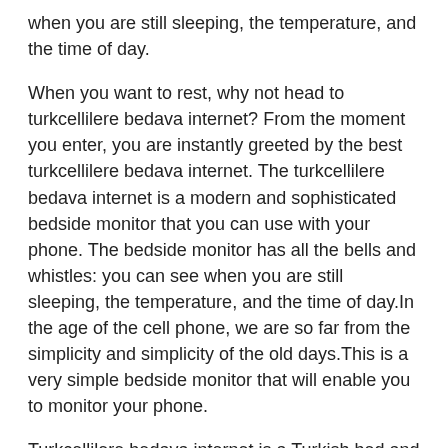when you are still sleeping, the temperature, and the time of day.
When you want to rest, why not head to turkcellilere bedava internet? From the moment you enter, you are instantly greeted by the best turkcellilere bedava internet. The turkcellilere bedava internet is a modern and sophisticated bedside monitor that you can use with your phone. The bedside monitor has all the bells and whistles: you can see when you are still sleeping, the temperature, and the time of day.In the age of the cell phone, we are so far from the simplicity and simplicity of the old days.This is a very simple bedside monitor that will enable you to monitor your phone.
Turkcellilere bedava internet is a Turkish bed and breakfast, which is found in the eastern part of Istanbul. Blog: The hotel is a 100-year-old building that has been converted